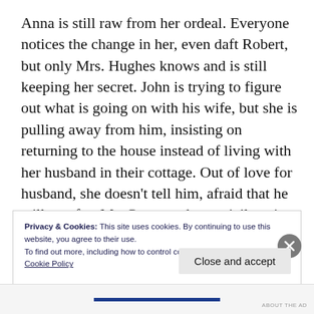Anna is still raw from her ordeal. Everyone notices the change in her, even daft Robert, but only Mrs. Hughes knows and is still keeping her secret. John is trying to figure out what is going on with his wife, but she is pulling away from him, insisting on returning to the house instead of living with her husband in their cottage. Out of love for husband, she doesn't tell him, afraid that he will go after Mr. Green and go to jail again.
Privacy & Cookies: This site uses cookies. By continuing to use this website, you agree to their use.
To find out more, including how to control cookies, see here:
Cookie Policy
Close and accept